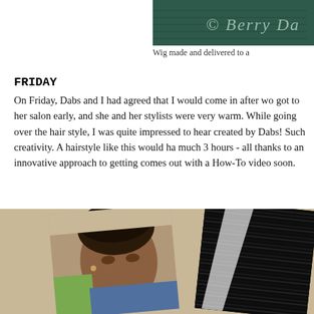[Figure (photo): Dark green background with watermark text '© Berry Da' visible in styled italic font, partially cropped at right edge]
Wig made and delivered to a
FRIDAY
On Friday, Dabs and I had agreed that I would come in after wo got to her salon early, and she and her stylists were very warm. While going over the hair style, I was quite impressed to hear created by Dabs! Such creativity. A hairstyle like this would ha much 3 hours - all thanks to an innovative approach to getting comes out with a How-To video soon.
[Figure (photo): Two photos overlapping on a cork/tan background: one showing a woman with natural hair in a salon setting wearing a denim jacket, another showing close-up of dark braided hair extensions]